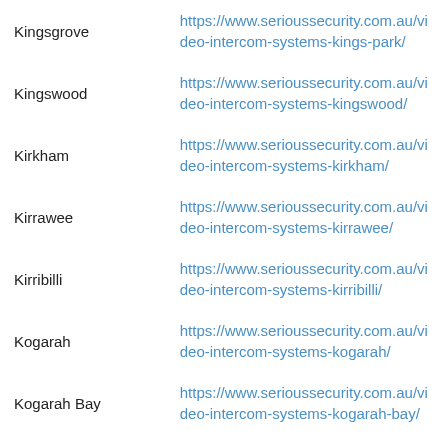Kingsgrove | https://www.serioussecurity.com.au/video-intercom-systems-kings-park/
Kingswood | https://www.serioussecurity.com.au/video-intercom-systems-kingswood/
Kirkham | https://www.serioussecurity.com.au/video-intercom-systems-kirkham/
Kirrawee | https://www.serioussecurity.com.au/video-intercom-systems-kirrawee/
Kirribilli | https://www.serioussecurity.com.au/video-intercom-systems-kirribilli/
Kogarah | https://www.serioussecurity.com.au/video-intercom-systems-kogarah/
Kogarah Bay | https://www.serioussecurity.com.au/video-intercom-systems-kogarah-bay/
Ku-Ring-Gai Chase | https://www.serioussecurity.com.au/video-intercom-systems-ku-ring-gai-chase/
Kurnell | https://www.serioussecurity.com.au/video-intercom-systems-kurnell/
Kurraba Point | https://www.serioussecurity.com.au/video-intercom-systems-kurraba-point/